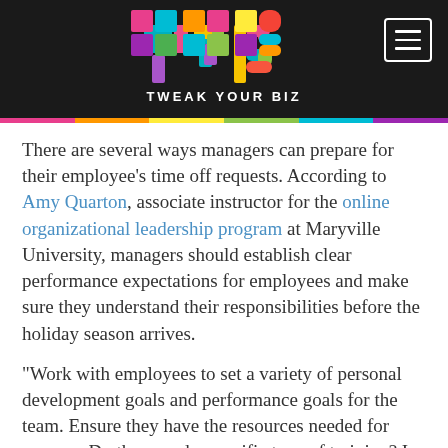[Figure (logo): Tweak Your Biz logo with colorful TYB letter blocks on black background, with hamburger menu button]
There are several ways managers can prepare for their employee’s time off requests. According to Amy Quarton, associate instructor for the online organizational leadership program at Maryville University, managers should establish clear performance expectations for employees and make sure they understand their responsibilities before the holiday season arrives.
“Work with employees to set a variety of personal development goals and performance goals for the team. Ensure they have the resources needed for success. Do they need a specific type of training? Is the break room stocked? Does equipment need to be fixed or replaced?